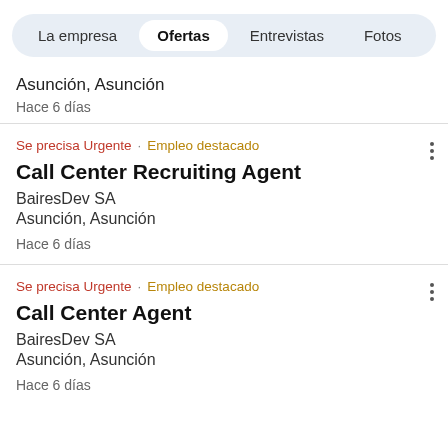La empresa   Ofertas   Entrevistas   Fotos
Asunción, Asunción
Hace 6 días
Se precisa Urgente · Empleo destacado
Call Center Recruiting Agent
BairesDev SA
Asunción, Asunción
Hace 6 días
Se precisa Urgente · Empleo destacado
Call Center Agent
BairesDev SA
Asunción, Asunción
Hace 6 días